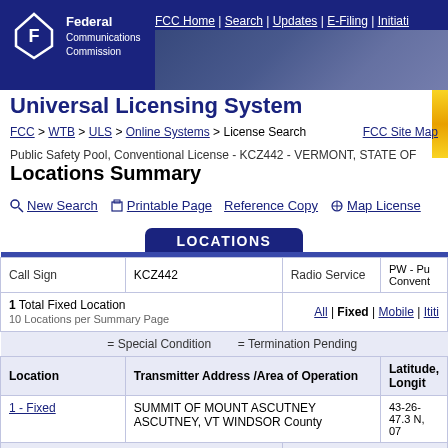FCC Home | Search | Updates | E-Filing | Initiatives — Federal Communications Commission
Universal Licensing System
FCC > WTB > ULS > Online Systems > License Search
FCC Site Map
Public Safety Pool, Conventional License - KCZ442 - VERMONT, STATE OF
Locations Summary
New Search  Printable Page  Reference Copy  Map License
| Call Sign |  | Radio Service |  |
| --- | --- | --- | --- |
| KCZ442 |  | Radio Service | PW - Pu Convent |
| 1 Total Fixed Location
10 Locations per Summary Page |  | All | Fixed | Mobile | Itinerant |  |
| = Special Condition   = Termination Pending |  |  |  |
| Location | Transmitter Address /Area of Operation | Latitude, Longit |  |
| 1 - Fixed | SUMMIT OF MOUNT ASCUTNEY ASCUTNEY, VT WINDSOR County | 43-26-47.3 N, 07 |  |
| 1 Total Fixed Location |  |  |  |